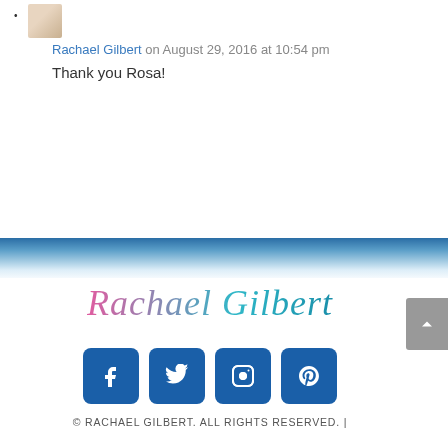[Figure (photo): Avatar thumbnail image of Rachael Gilbert]
Rachael Gilbert on August 29, 2016 at 10:54 pm
Thank you Rosa!
[Figure (illustration): Horizontal gradient divider bar transitioning from blue to white]
[Figure (logo): Cursive signature logo reading 'Rachael Gilbert' in pink-to-teal gradient]
[Figure (infographic): Row of four blue rounded square social media icons: Facebook, Twitter, Instagram, Pinterest]
© RACHAEL GILBERT. ALL RIGHTS RESERVED. |